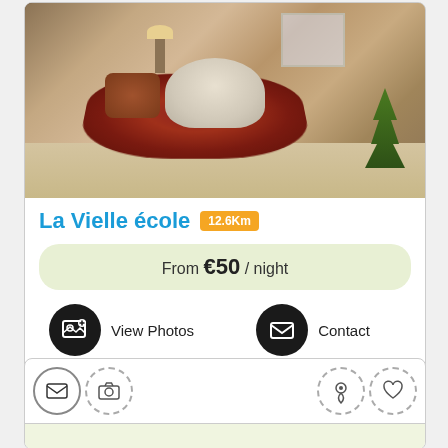[Figure (photo): Interior photo of a living room with an armchair, round sofa, ornate rug, plants, and wooden furniture]
La Vielle école 12.6Km
From €50 / night
View Photos
Contact
[Figure (infographic): Partial second listing card showing icon row with envelope, camera, map pin, and heart icons with dashed circles]